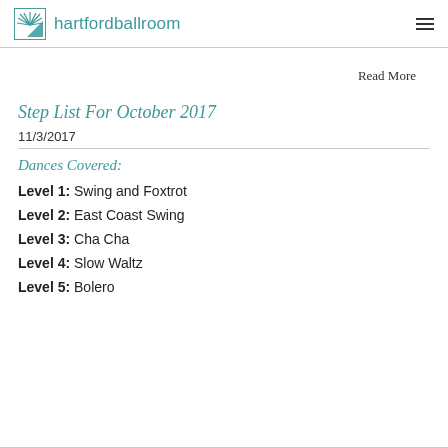hartfordballroom
Read More
Step List For October 2017
11/3/2017
Dances Covered:
Level 1: Swing and Foxtrot
Level 2: East Coast Swing
Level 3: Cha Cha
Level 4: Slow Waltz
Level 5: Bolero